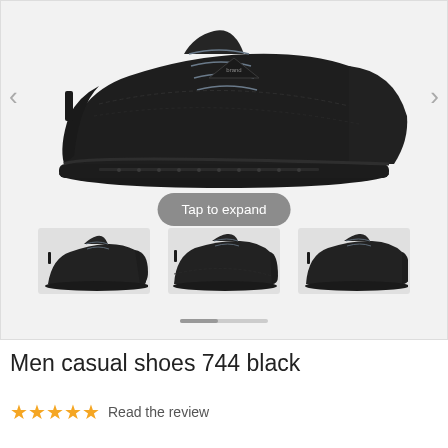[Figure (photo): E-commerce product page screenshot showing a black men's casual shoe (model 744) with navigation arrows, main product image, 'Tap to expand' overlay button, three thumbnail images below, and a pagination indicator.]
Men casual shoes 744 black
Read the review